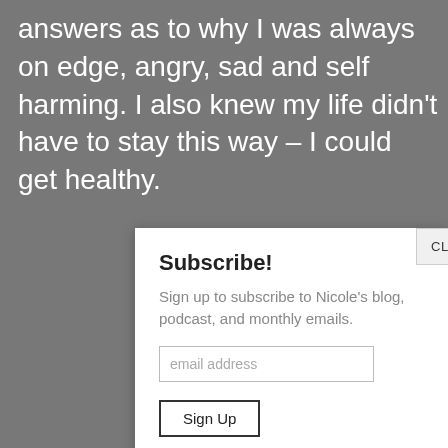answers as to why I was always on edge, angry, sad and self harming. I also knew my life didn't have to stay this way – I could get healthy.
Subscribe!
Sign up to subscribe to Nicole's blog, podcast, and monthly emails.
email address
Sign Up
CLOSE